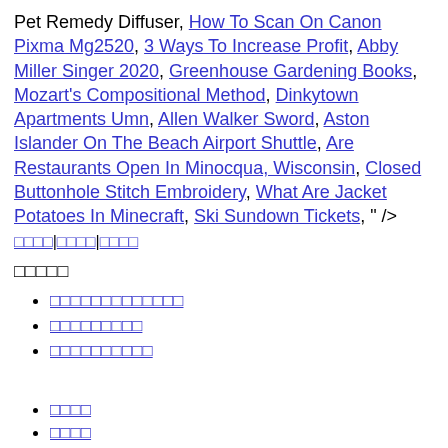Pet Remedy Diffuser, How To Scan On Canon Pixma Mg2520, 3 Ways To Increase Profit, Abby Miller Singer 2020, Greenhouse Gardening Books, Mozart's Compositional Method, Dinkytown Apartments Umn, Allen Walker Sword, Aston Islander On The Beach Airport Shuttle, Are Restaurants Open In Minocqua, Wisconsin, Closed Buttonhole Stitch Embroidery, What Are Jacket Potatoes In Minecraft, Ski Sundown Tickets, " />
□□□□|□□□□|□□□□
□□□□□
□□□□□□□□□□□□□
□□□□□□□□□
□□□□□□□□□□
□□□□
□□□□
□□□□
□□□□
□□□□
□□□□